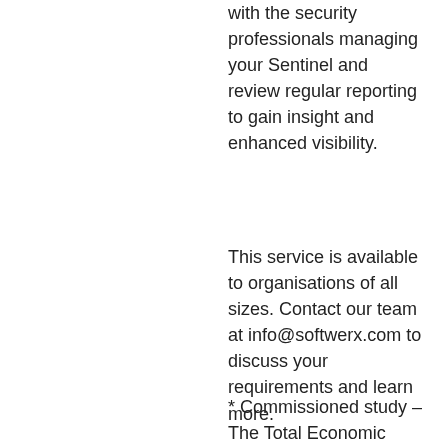with the security professionals managing your Sentinel and review regular reporting to gain insight and enhanced visibility.
This service is available to organisations of all sizes. Contact our team at info@softwerx.com to discuss your requirements and learn more.
* Commissioned study – The Total Economic Impact™ of Microsoft Azure Sentinel, conducted by Forrester